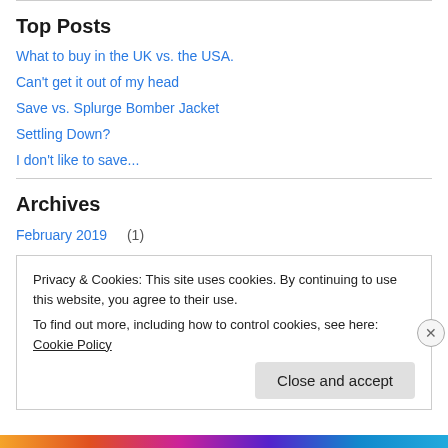Top Posts
What to buy in the UK vs. the USA.
Can't get it out of my head
Save vs. Splurge Bomber Jacket
Settling Down?
I don't like to save...
Archives
February 2019 (1)
Privacy & Cookies: This site uses cookies. By continuing to use this website, you agree to their use. To find out more, including how to control cookies, see here: Cookie Policy